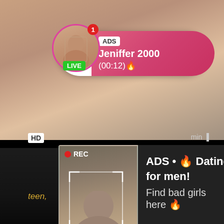[Figure (screenshot): Social media / video platform screenshot with adult ad overlays. Top ad bubble: 'ADS Jeniffer 2000 (00:12)' with profile photo and LIVE badge. Bottom dark overlay ad card with REC camera view and text 'ADS • Dating for men! Find bad girls here'. Background shows explicit and adult content imagery.]
ADS
Jeniffer 2000
(00:12)
LIVE
HD
REC
ADS • 🔥 Dating for men!
Find bad girls here 🔥
teen,
nyt...
min